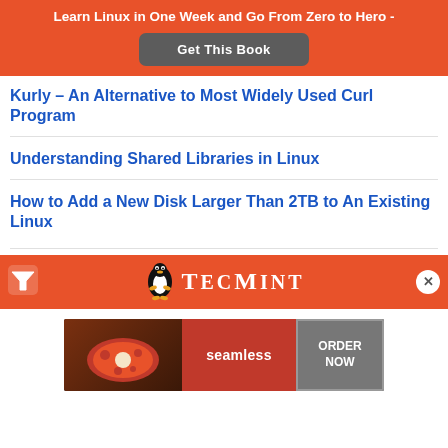Learn Linux in One Week and Go From Zero to Hero -
Get This Book
Kurly – An Alternative to Most Widely Used Curl Program
Understanding Shared Libraries in Linux
How to Add a New Disk Larger Than 2TB to An Existing Linux
[Figure (logo): TecMint logo banner with Tux penguin mascot on orange background]
[Figure (photo): Seamless food delivery advertisement banner with pizza image and ORDER NOW button]